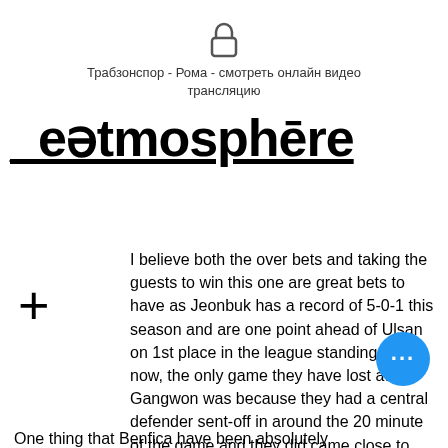Трабзонспор - Рома - смотреть онлайн видео трансляцию
_eətmosphēre
I believe both the over bets and taking the guests to win this one are great bets to have as Jeonbuk has a record of 5-0-1 this season and are one point ahead of Ulsan on 1st place in the league standings right now, the only game they have lost at Gangwon was because they had a central defender sent-off in around the 20 minute of the game and they did came close to scoring the 1-1 goal in the second half even in 10 men, but away from home in their last away game they played really well by demolishing Seoul with 4-1 on the
One thing that Benfica have been absolutely